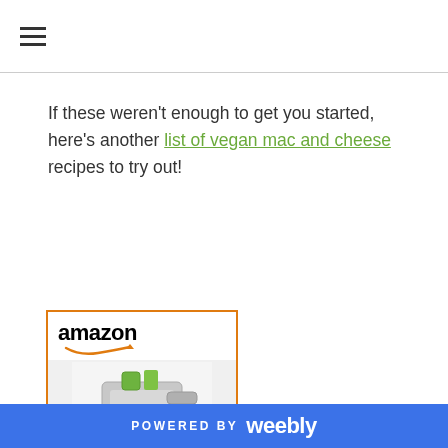≡ (hamburger menu)
If these weren't enough to get you started, here's another list of vegan mac and cheese recipes to try out!
[Figure (other): Amazon product card showing a Spiralizer 7-Blade product with Amazon logo, product image of a spiralizer kitchen appliance with vegetables, product title 'Spiralizer 7-Blade...' and price '$39.97' with Prime badge]
POWERED BY weebly